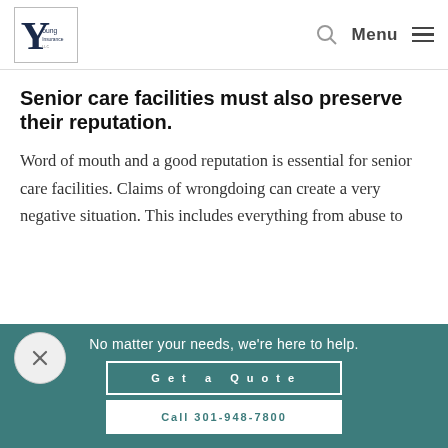[Figure (logo): Young Insurance logo — large Y with 'oung' text below, in a bordered box]
Senior care facilities must also preserve their reputation.
Word of mouth and a good reputation is essential for senior care facilities. Claims of wrongdoing can create a very negative situation. This includes everything from abuse to
No matter your needs, we're here to help.
Get a Quote
Call 301-948-7800